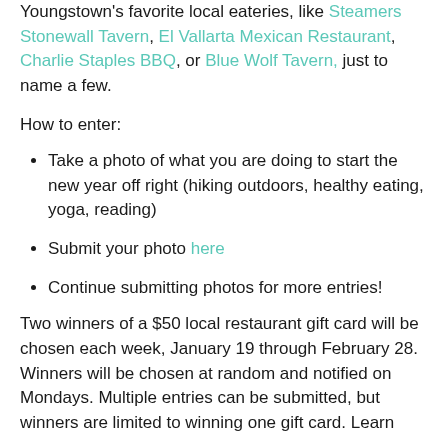Youngstown's favorite local eateries, like Steamers Stonewall Tavern, El Vallarta Mexican Restaurant, Charlie Staples BBQ, or Blue Wolf Tavern, just to name a few.
How to enter:
Take a photo of what you are doing to start the new year off right (hiking outdoors, healthy eating, yoga, reading)
Submit your photo here
Continue submitting photos for more entries!
Two winners of a $50 local restaurant gift card will be chosen each week, January 19 through February 28. Winners will be chosen at random and notified on Mondays. Multiple entries can be submitted, but winners are limited to winning one gift card. Learn